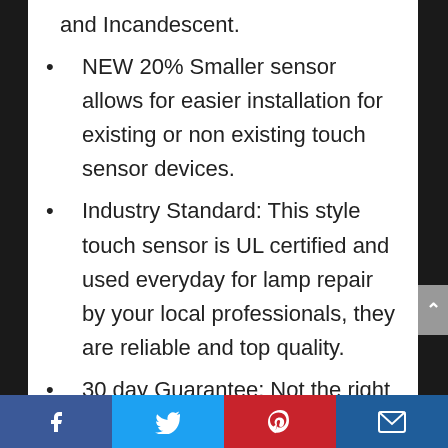and Incandescent.
NEW 20% Smaller sensor allows for easier installation for existing or non existing touch sensor devices.
Industry Standard: This style touch sensor is UL certified and used everyday for lamp repair by your local professionals, they are reliable and top quality.
30 day Guarantee: Not the right sensor for you? Trouble installing? No problem our hassle free money back guarantee ensures you won't regret this purchase!
Facebook | Twitter | Pinterest | Email